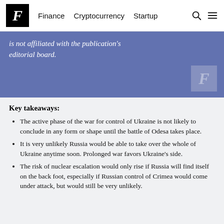F  Finance  Cryptocurrency  Startup
is not affiliated with the publication's editorial board.
Key takeaways:
The active phase of the war for control of Ukraine is not likely to conclude in any form or shape until the battle of Odesa takes place.
It is very unlikely Russia would be able to take over the whole of Ukraine anytime soon. Prolonged war favors Ukraine's side.
The risk of nuclear escalation would only rise if Russia will find itself on the back foot, especially if Russian control of Crimea would come under attack, but would still be very unlikely.